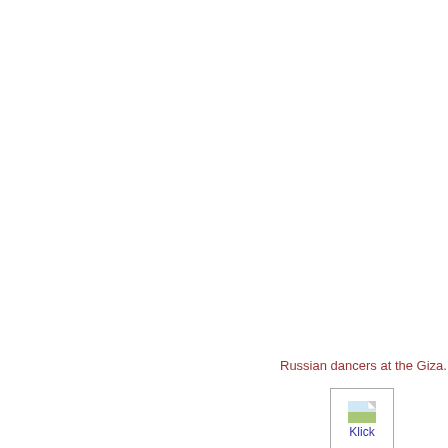Russian dancers at the Giza.
[Figure (illustration): Klick thumbnail image with a small icon showing a landscape/document image and the word 'Klick' in blue below it, bordered by a thin gray rectangle]